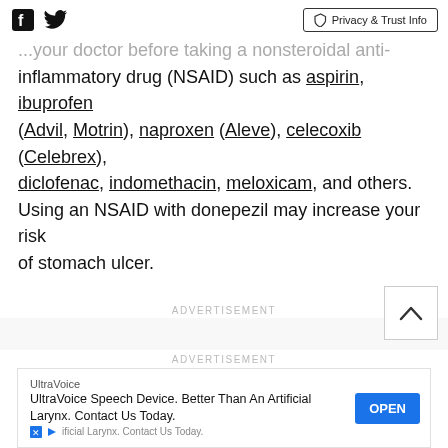[Facebook icon] [Twitter icon] | Privacy & Trust Info
...your doctor before taking a nonsteroidal anti-inflammatory drug (NSAID) such as aspirin, ibuprofen (Advil, Motrin), naproxen (Aleve), celecoxib (Celebrex), diclofenac, indomethacin, meloxicam, and others. Using an NSAID with donepezil may increase your risk of stomach ulcer.
ADVERTISEMENT
ADVERTISEMENT
UltraVoice | UltraVoice Speech Device. Better Than An Artificial Larynx. Contact Us Today. | OPEN